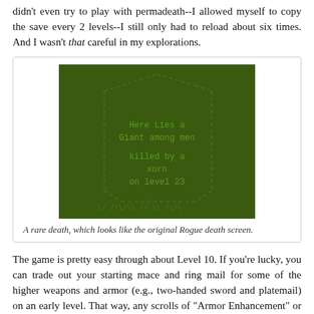didn't even try to play with permadeath--I allowed myself to copy the save every 2 levels--I still only had to reload about six times. And I wasn't that careful in my explorations.
[Figure (screenshot): A green terminal-style death screen from the game Rogue, showing text: 'Here Lies a Giant among men killed by a xorn on level 23' with decorative ASCII border patterns on a dark green background.]
A rare death, which looks like the original Rogue death screen.
The game is pretty easy through about Level 10. If you're lucky, you can trade out your starting mace and ring mail for some of the higher weapons and armor (e.g., two-handed sword and platemail) on an early level. That way, any scrolls of "Armor Enhancement" or "Weapon Enhancement" that you find will stack on the same equipment throughout the